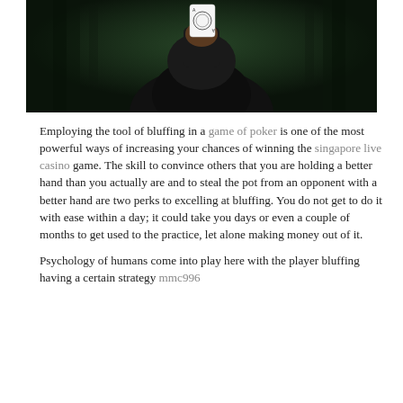[Figure (photo): A person in a dark hoodie holding up a playing card (face card) in front of their face, set against a dark green blurred forest background.]
Employing the tool of bluffing in a game of poker is one of the most powerful ways of increasing your chances of winning the singapore live casino game. The skill to convince others that you are holding a better hand than you actually are and to steal the pot from an opponent with a better hand are two perks to excelling at bluffing. You do not get to do it with ease within a day; it could take you days or even a couple of months to get used to the practice, let alone making money out of it.
Psychology of humans come into play here with the player bluffing having a certain strategy mmc996